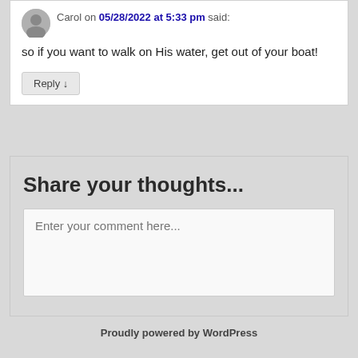Carol on 05/28/2022 at 5:33 pm said:
so if you want to walk on His water, get out of your boat!
Reply ↓
Share your thoughts...
Enter your comment here...
Proudly powered by WordPress